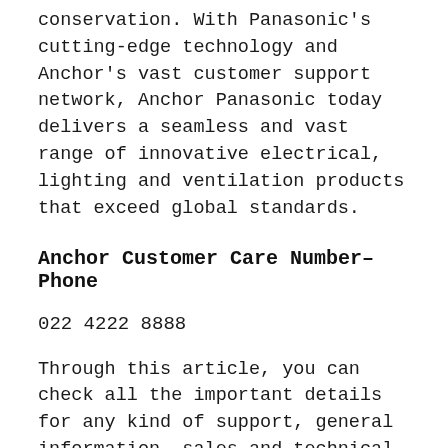conservation. With Panasonic's cutting-edge technology and Anchor's vast customer support network, Anchor Panasonic today delivers a seamless and vast range of innovative electrical, lighting and ventilation products that exceed global standards.
Anchor Customer Care Number– Phone
022 4222 8888
Through this article, you can check all the important details for any kind of support, general information, sales and technical support before and after sales and how we can reach the customer care team and other